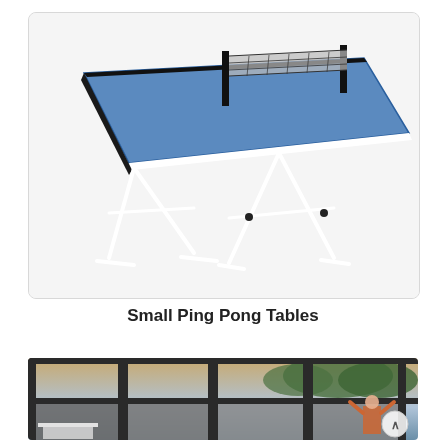[Figure (photo): A small blue ping pong table with white folding legs and a black net, shown on a white background.]
Small Ping Pong Tables
[Figure (photo): Interior room with large dark-framed glass doors/windows showing outdoor trees and sunset. A person is visible on the right side with arms raised. White ping pong table or similar furniture is partially visible at the bottom.]